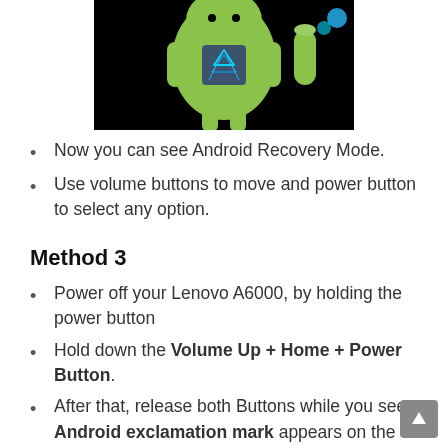[Figure (photo): Android robot figure with blue geometric pattern on chest, green body, black background, partial top crop]
Now you can see Android Recovery Mode.
Use volume buttons to move and power button to select any option.
Method 3
Power off your Lenovo A6000, by holding the power button
Hold down the Volume Up + Home + Power Button.
After that, release both Buttons while you see Android exclamation mark appears on the display screen.
Now you can see Android Recovery Mode, if not (while